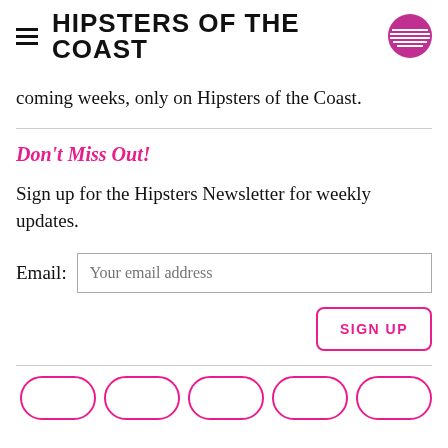HIPSTERS OF THE COAST
coming weeks, only on Hipsters of the Coast.
Don't Miss Out!
Sign up for the Hipsters Newsletter for weekly updates.
Email: [Your email address input field]
SIGN UP [button]